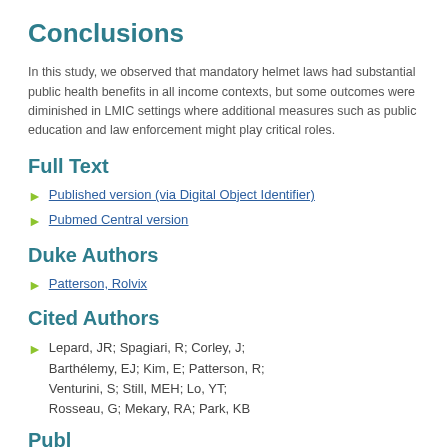Conclusions
In this study, we observed that mandatory helmet laws had substantial public health benefits in all income contexts, but some outcomes were diminished in LMIC settings where additional measures such as public education and law enforcement might play critical roles.
Full Text
Published version (via Digital Object Identifier)
Pubmed Central version
Duke Authors
Patterson, Rolvix
Cited Authors
Lepard, JR; Spagiari, R; Corley, J; Barthélemy, EJ; Kim, E; Patterson, R; Venturini, S; Still, MEH; Lo, YT; Rosseau, G; Mekary, RA; Park, KB
Published Date